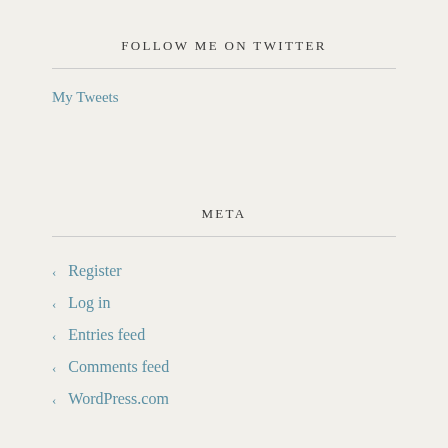FOLLOW ME ON TWITTER
My Tweets
META
Register
Log in
Entries feed
Comments feed
WordPress.com